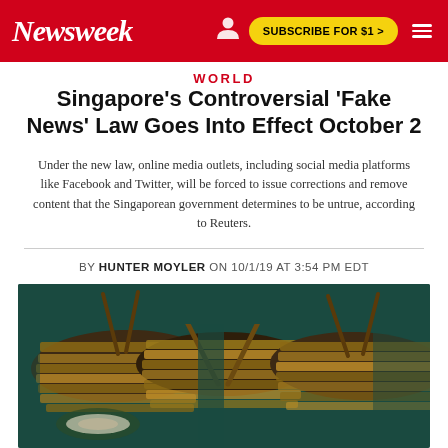Newsweek | SUBSCRIBE FOR $1 >
WORLD
Singapore's Controversial 'Fake News' Law Goes Into Effect October 2
Under the new law, online media outlets, including social media platforms like Facebook and Twitter, will be forced to issue corrections and remove content that the Singaporean government determines to be untrue, according to Reuters.
BY HUNTER MOYLER ON 10/1/19 AT 3:54 PM EDT
[Figure (photo): Aerial view of wooden fishing boats loaded with wooden planks, moored together on dark green water, viewed from above.]